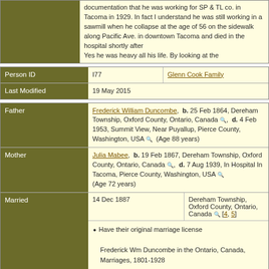documentation that he was working for SP & TL co. in Tacoma in 1929. In fact I understand he was still working in a sawmill when he collapse at the age of 56 on the sidewalk along Pacific Ave. in downtown Tacoma and died in the hospital shortly after
Yes he was heavy all his life. By looking at the
| Field | Value | Source |
| --- | --- | --- |
| Person ID | I77 | Glenn Cook Family |
| Last Modified | 19 May 2015 |  |
| Relation | Details |
| --- | --- |
| Father | Frederick William Duncombe, b. 25 Feb 1864, Dereham Township, Oxford County, Ontario, Canada, d. 4 Feb 1953, Summit View, Near Puyallup, Pierce County, Washington, USA (Age 88 years) |
| Mother | Julia Mabee, b. 19 Feb 1867, Dereham Township, Oxford County, Ontario, Canada, d. 7 Aug 1939, In Hospital In Tacoma, Pierce County, Washington, USA (Age 72 years) |
| Married | 14 Dec 1887 | Dereham Township, Oxford County, Ontario, Canada [4, 5] |
|  | Have their original marriage license
Frederick Wm Duncombe in the Ontario, Canada, Marriages, 1801-1928
Source Citation
Archives of Ontario; Series: MS932; Reel: 58 |